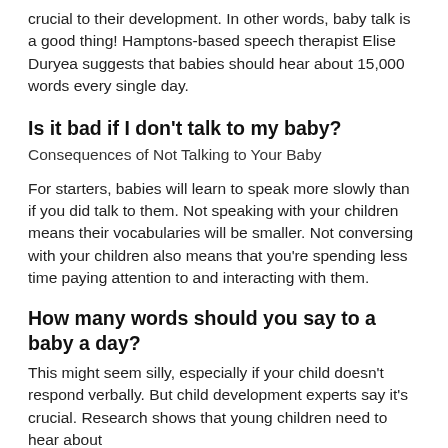crucial to their development. In other words, baby talk is a good thing! Hamptons-based speech therapist Elise Duryea suggests that babies should hear about 15,000 words every single day.
Is it bad if I don't talk to my baby?
Consequences of Not Talking to Your Baby
For starters, babies will learn to speak more slowly than if you did talk to them. Not speaking with your children means their vocabularies will be smaller. Not conversing with your children also means that you're spending less time paying attention to and interacting with them.
How many words should you say to a baby a day?
This might seem silly, especially if your child doesn't respond verbally. But child development experts say it's crucial. Research shows that young children need to hear about